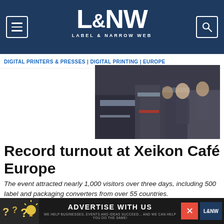L&NW — Label & Narrow Web
DIGITAL PRINTERS & PRESSES | DIGITAL PRINTING | EUROPE
[Figure (photo): People viewing printing equipment at Xeikon Café Europe event]
Record turnout at Xeikon Café Europe
The event attracted nearly 1,000 visitors over three days, including 500 label and packaging converters from over 55 countries.
04.15.19
[Figure (photo): Partial thumbnail of next article image]
[Figure (photo): Advertise With Us banner — We help businesses, events and ideas succeed... and we can help you do the same! L&NW]